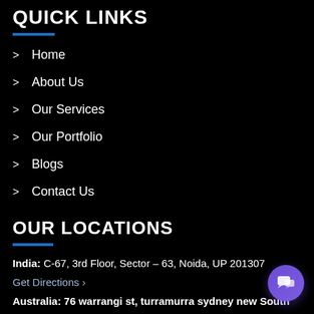QUICK LINKS
Home
About Us
Our Services
Our Portfolio
Blogs
Contact Us
OUR LOCATIONS
India: C-67, 3rd Floor, Sector – 63, Noida, UP 201307
Get Directions >
Australia: 76 warrangi st, turramurra sydney new South
[Figure (screenshot): Chat popup with avatar icon showing 'Got any questions? I'm happy to help.' and a close X button, plus a purple chat launcher button in bottom right corner]